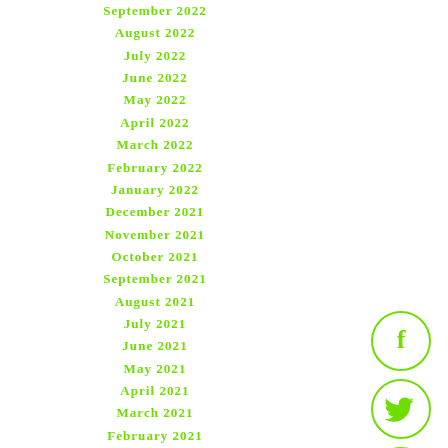September 2022
August 2022
July 2022
June 2022
May 2022
April 2022
March 2022
February 2022
January 2022
December 2021
November 2021
October 2021
September 2021
August 2021
July 2021
June 2021
May 2021
April 2021
March 2021
February 2021
January 2021
December 2020
November 2020
[Figure (other): Social media icons: Facebook, Twitter, Pinterest, Tumblr, StumbleUpon — circular outlined icons in green]